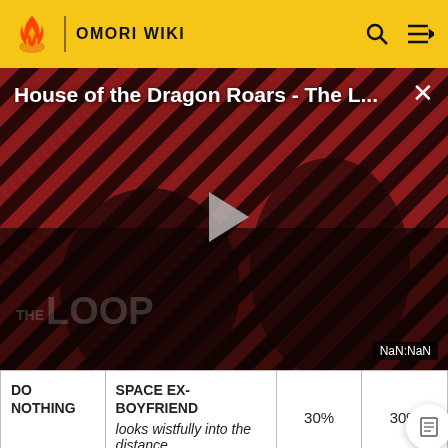OMORI WIKI
[Figure (screenshot): Video thumbnail for 'House of the Dragon Roars - The L...' showing two dark figures against a red diagonal-striped background with THE LOOP logo, a play button in the center, and NaN:NaN timestamp indicator.]
| DO NOTHING | SPACE EX-BOYFRIEND
looks wistfully into the distance. | 30% | 30% |
| ANGSTY SONG | SPACE EX-BOYFRIEND | 30% | 30% |